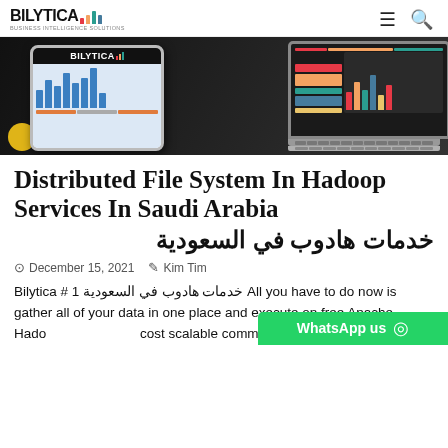BILYTICA [logo with bar chart icons] [hamburger menu] [search icon]
[Figure (photo): Hero image showing a tablet with BILYTICA logo and dashboard charts on screen, and a laptop keyboard on a dark background. A yellow spherical object is visible on the left.]
Distributed File System In Hadoop Services In Saudi Arabia خدمات هادوب في السعودية
December 15, 2021  Kim Tim
Bilytica # 1 خدمات هادوب في السعودية All you have to do now is gather all of your data in one place and execute on free Apache Hadoop… cost scalable commodity hardware. Hadoop also